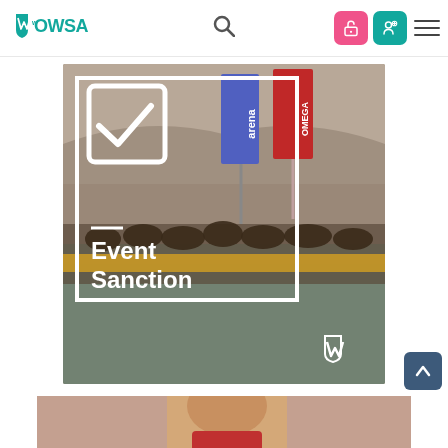[Figure (logo): WOWSA logo in teal/green color]
[Figure (photo): Open water swimming event photo showing athletes in water with Omega and Arena flags, overlaid with 'Event Sanction' text in a white bordered box with checkmark icon and WOWSA watermark]
[Figure (photo): Partial photo of a person at the bottom of the page]